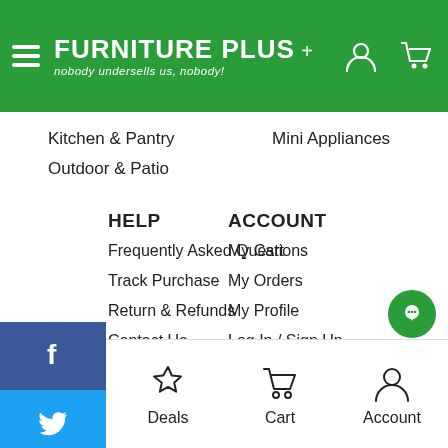FURNITURE PLUS — nobody undersells us, nobody!
Kitchen & Pantry
Mini Appliances
Outdoor & Patio
HELP
Frequently Asked Questions
Track Purchase
Return & Refunds
Contact Us
ACCOUNT
My Cart
My Orders
My Profile
Log In / Sign Up
FOLLOW
[Figure (logo): Social sharing sidebar with Facebook, Twitter, Pinterest, LinkedIn buttons]
[Figure (infographic): Social follow icons: Facebook (grey circle), Instagram (grey circle)]
Shop | Deals | Cart | Account